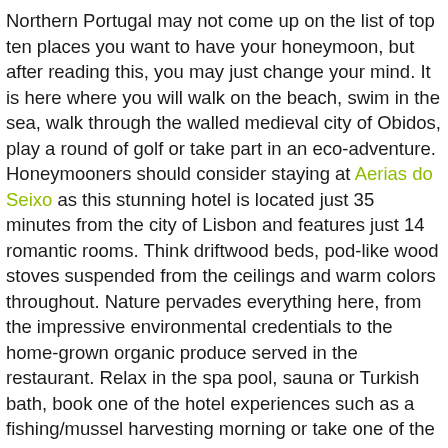Northern Portugal may not come up on the list of top ten places you want to have your honeymoon, but after reading this, you may just change your mind. It is here where you will walk on the beach, swim in the sea, walk through the walled medieval city of Obidos, play a round of golf or take part in an eco-adventure. Honeymooners should consider staying at Aerias do Seixo as this stunning hotel is located just 35 minutes from the city of Lisbon and features just 14 romantic rooms. Think driftwood beds, pod-like wood stoves suspended from the ceilings and warm colors throughout. Nature pervades everything here, from the impressive environmental credentials to the home-grown organic produce served in the restaurant. Relax in the spa pool, sauna or Turkish bath, book one of the hotel experiences such as a fishing/mussel harvesting morning or take one of the hotel bicycles and explore the surrounding area.